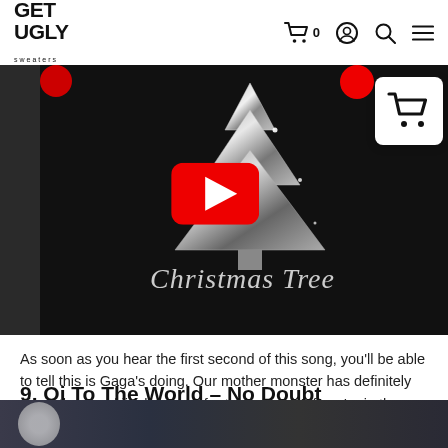GET UGLY sweaters
[Figure (screenshot): YouTube video thumbnail showing a silver metallic Christmas tree on a dark background with 'Christmas Tree' in cursive text at the bottom and a YouTube play button overlay.]
As soon as you hear the first second of this song, you'll be able to tell this is Gaga's doing. Our mother monster has definitely given the usual jingles a run for their money! If you're in the mood to dance on tables, definitely put this on.
9. Oi To The World – No Doubt
[Figure (photo): Partial bottom strip showing the beginning of the next image/photo section.]